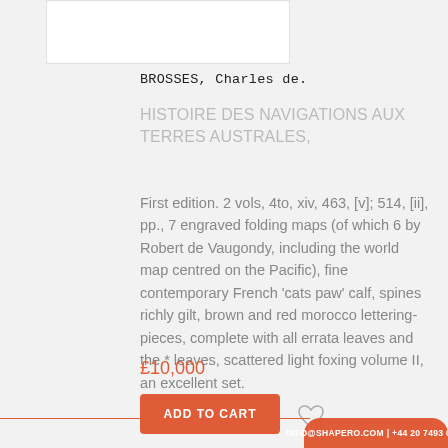[Figure (photo): White rectangular image placeholder at top left]
BROSSES, Charles de.
HISTOIRE DES NAVIGATIONS AUX TERRES AUSTRALES,
First edition. 2 vols, 4to, xiv, 463, [v]; 514, [ii], pp., 7 engraved folding maps (of which 6 by Robert de Vaugondy, including the world map centred on the Pacific), fine contemporary French 'cats paw' calf, spines richly gilt, brown and red morocco lettering-pieces, complete with all errata leaves and the * leaves, scattered light foxing volume II, an excellent set.
£10,000
ADD TO CART
INFO@SHAPERO.COM | +44 20 7493 0876